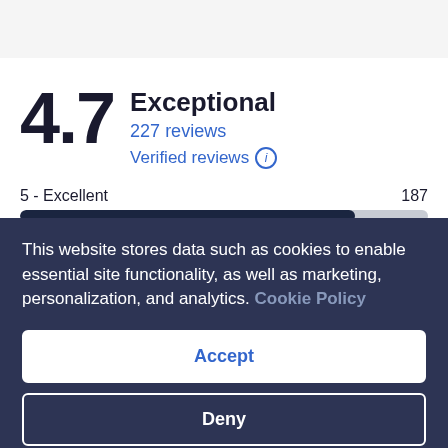4.7
Exceptional
227 reviews
Verified reviews
[Figure (bar-chart): Review score distribution]
This website stores data such as cookies to enable essential site functionality, as well as marketing, personalization, and analytics. Cookie Policy
Accept
Deny